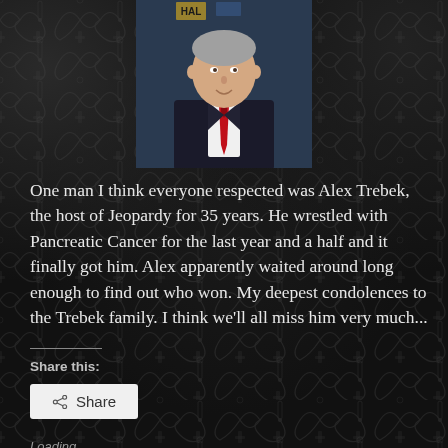[Figure (photo): Portrait photo of a man in a dark suit with a red tie, shown from shoulders up, smiling]
One man I think everyone respected was Alex Trebek, the host of Jeopardy for 35 years. He wrestled with Pancreatic Cancer for the last year and a half and it finally got him. Alex apparently waited around long enough to find out who won. My deepest condolences to the Trebek family. I think we'll all miss him very much...
Share this:
Loading...